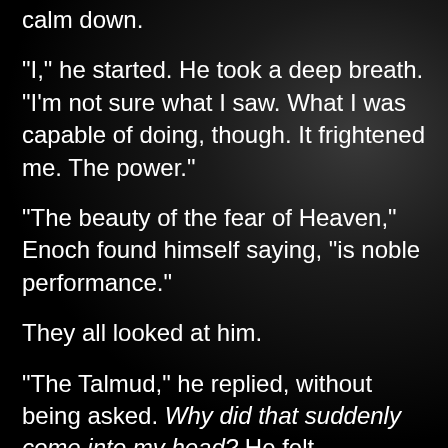calm down.
“I,” he started. He took a deep breath. “I’m not sure what I saw. What I was capable of doing, though. It frightened me. The power.”
“The beauty of the fear of Heaven,” Enoch found himself saying, “is noble performance.”
They all looked at him.
“The Talmud,” he replied, without being asked. Why did that suddenly come into my head? He felt compelled to add, sheepishly, “‘Love Heaven, and fear it.’ My dad used to always quote from it. I was named